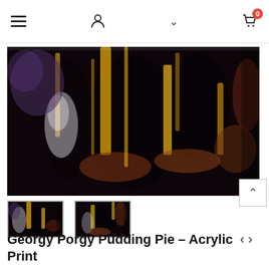Navigation bar with hamburger menu, user icon, chevron, and cart (0)
[Figure (photo): Abstract acrylic artwork with black, gold/yellow, brown, purple and white dripping paint patterns on a dark background. Wide horizontal format displayed on a white background, slight shadow on right edge.]
[Figure (photo): Thumbnail 1: Small version of the abstract acrylic artwork with dark tones and gold/orange streaks.]
[Figure (photo): Thumbnail 2: Small version of the abstract acrylic artwork, slightly different crop showing similar dark and gold tones.]
Georgy Porgy Pudding Pie – Acrylic Print